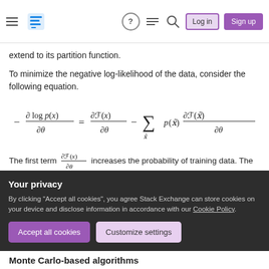Stack Exchange navigation bar with hamburger menu, logo, help, chat, search icons, Log in and Sign up buttons
extend to its partition function.
To minimize the negative log-likelihood of the data, consider the following equation.
The first term \frac{\partial\mathcal{F}(x)}{\partial\theta} increases the probability of training data. The second term \sum_{\tilde{x}} p(\tilde{x}) \frac{\partial\mathcal{F}(\tilde{x})}{\partial\theta} decreases the probability of samples generated by
Your privacy
By clicking "Accept all cookies", you agree Stack Exchange can store cookies on your device and disclose information in accordance with our Cookie Policy.
Accept all cookies   Customize settings
Monte Carlo-based algorithms